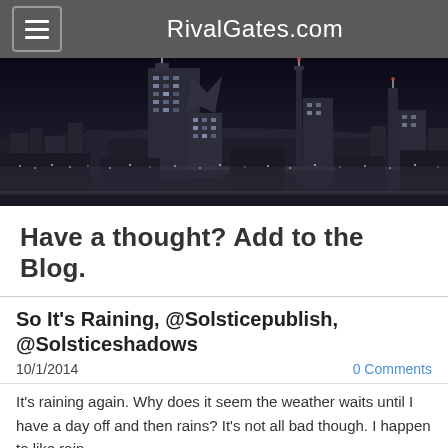RivalGates.com
[Figure (photo): Black and white night cityscape with skyscrapers and city lights]
Have a thought? Add to the Blog.
So It's Raining, @Solsticepublish, @Solsticeshadows
10/1/2014
0 Comments
It's raining again. Why does it seem the weather waits until I have a day off and then rains?  It's not all bad though.  I happen to like rain.